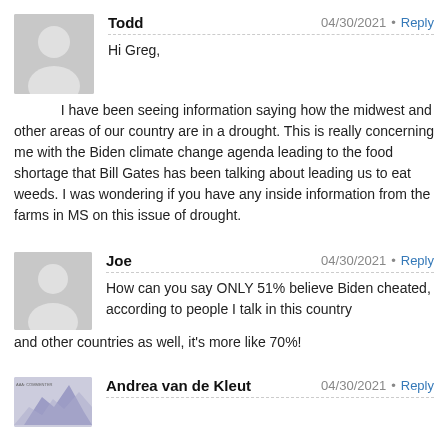Todd  04/30/2021 • Reply
Hi Greg,
I have been seeing information saying how the midwest and other areas of our country are in a drought. This is really concerning me with the Biden climate change agenda leading to the food shortage that Bill Gates has been talking about leading us to eat weeds. I was wondering if you have any inside information from the farms in MS on this issue of drought.
Joe  04/30/2021 • Reply
How can you say ONLY 51% believe Biden cheated, according to people I talk in this country and other countries as well, it's more like 70%!
Andrea van de Kleut  04/30/2021 • Reply